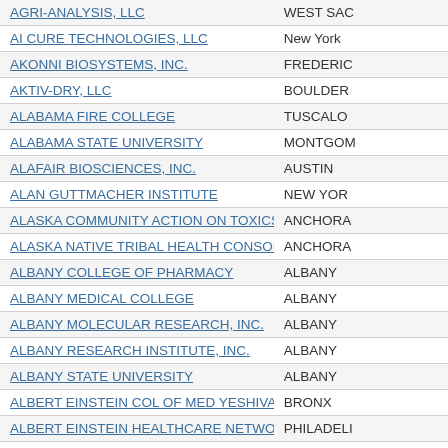| Organization | City |
| --- | --- |
| AGRI-ANALYSIS, LLC | WEST SAC |
| AI CURE TECHNOLOGIES, LLC | New York |
| AKONNI BIOSYSTEMS, INC. | FREDERIC |
| AKTIV-DRY, LLC | BOULDER |
| ALABAMA FIRE COLLEGE | TUSCALO |
| ALABAMA STATE UNIVERSITY | MONTGOM |
| ALAFAIR BIOSCIENCES, INC. | AUSTIN |
| ALAN GUTTMACHER INSTITUTE | NEW YOR |
| ALASKA COMMUNITY ACTION ON TOXICS (ACAT) | ANCHORA |
| ALASKA NATIVE TRIBAL HEALTH CONSORTIUM | ANCHORA |
| ALBANY COLLEGE OF PHARMACY | ALBANY |
| ALBANY MEDICAL COLLEGE | ALBANY |
| ALBANY MOLECULAR RESEARCH, INC. | ALBANY |
| ALBANY RESEARCH INSTITUTE, INC. | ALBANY |
| ALBANY STATE UNIVERSITY | ALBANY |
| ALBERT EINSTEIN COL OF MED YESHIVA UNIV | BRONX |
| ALBERT EINSTEIN HEALTHCARE NETWORK | PHILADELI |
| ALCHEM LABORATORIES CORPORATION | ALACHUA |
| ALCOMED, INC. | LEXINGTO |